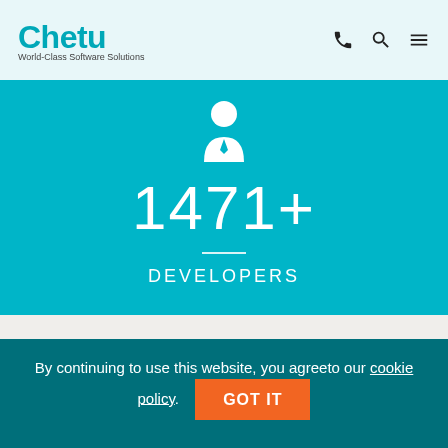Chetu — World-Class Software Solutions
[Figure (infographic): Person/developer icon in white on teal background, with large number 1471+ and label DEVELOPERS]
Contact Us
Cobalt Square
83 Hagley Road, Part 1 First Floor
By continuing to use this website, you agreeto our cookie policy.
GOT IT